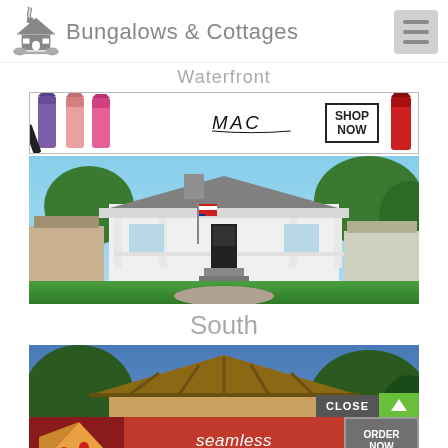[Figure (logo): Bungalows & Cottages website logo with house icon and hamburger menu]
Waterfront
[Figure (screenshot): MAC cosmetics advertisement showing lipsticks in purple, pink, red colors with SHOP NOW button]
[Figure (photo): Bungalow house exterior with white wrap-around porch, American flag, and lush green yard]
South
[Figure (photo): Another bungalow/cottage exterior with wooden roof structure visible, trees in background]
[Figure (screenshot): Seamless food delivery advertisement with pizza image, Seamless logo, ORDER NOW button, and CLOSE button]